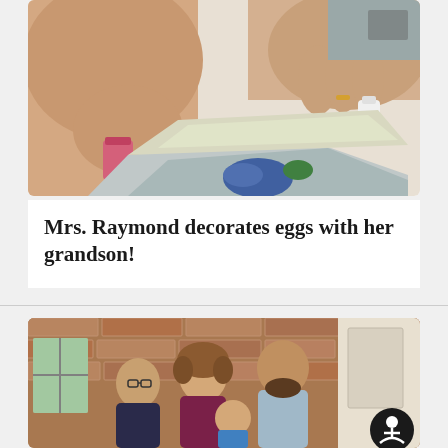[Figure (photo): Close-up photo of hands decorating Easter eggs on a foil-covered surface, with colorful dye and craft supplies visible]
Mrs. Raymond decorates eggs with her grandson!
[Figure (photo): Family photo of three adults and a child standing together in front of a brick wall interior]